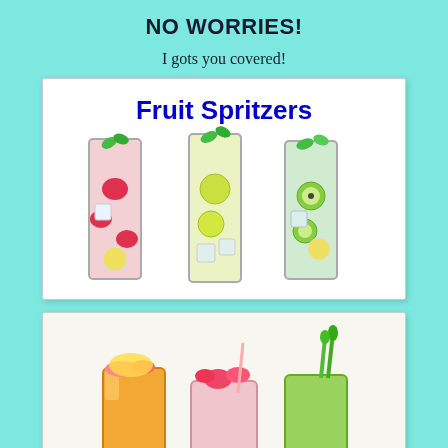NO WORRIES!
I gots you covered!
[Figure (photo): Three tall glasses of fruit spritzers with text 'Fruit Spritzers' in blue at the top. Left glass has strawberries and lemon slices (pink), middle has lime and citrus (yellow-green), right has kiwi slices (green). All garnished with mint leaves.]
[Figure (photo): Several glasses of colorful fruit drinks and smoothies including orange juice, pink smoothie topped with strawberries, and green smoothie with asparagus, with various fruits visible.]